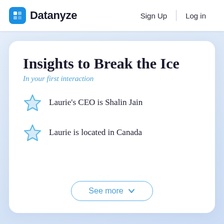Datanyze   Sign Up   Log in
Insights to Break the Ice
In your first interaction
Laurie's CEO is Shalin Jain
Laurie is located in Canada
See more